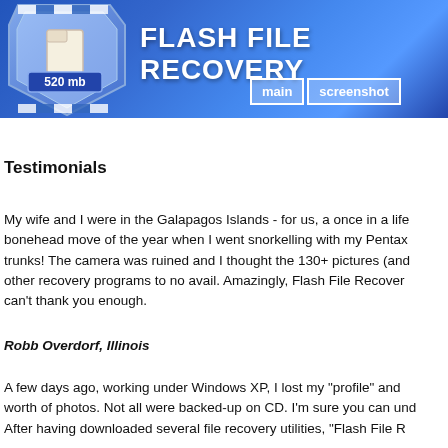[Figure (screenshot): Flash File Recovery software banner header with logo (shield/folder icon with '520 mb' label and checkered flag pattern), large white bold title 'FLASH FILE RECOVERY' on blue gradient background, and navigation buttons 'main' and 'screenshot']
Testimonials
My wife and I were in the Galapagos Islands - for us, a once in a life bonehead move of the year when I went snorkelling with my Pentax trunks! The camera was ruined and I thought the 130+ pictures (and other recovery programs to no avail. Amazingly, Flash File Recover can't thank you enough.
Robb Overdorf, Illinois
A few days ago, working under Windows XP, I lost my "profile" and worth of photos. Not all were backed-up on CD. I'm sure you can und After having downloaded several file recovery utilities, "Flash File R